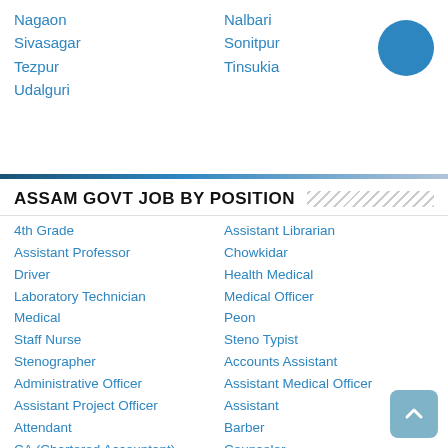Nagaon
Sivasagar
Tezpur
Udalguri
Nalbari
Sonitpur
Tinsukia
ASSAM GOVT JOB BY POSITION
4th Grade
Assistant Professor
Driver
Laboratory Technician
Medical
Staff Nurse
Stenographer
Administrative Officer
Assistant Project Officer
Attendant
CA (Chartered Accountant)
Coordinator
Consultant
Computer Programmer
Computer Assistant
Chief Medical Officer
Hospital Job
Health Inspector
Assistant Librarian
Chowkidar
Health Medical
Medical Officer
Peon
Steno Typist
Accounts Assistant
Assistant Medical Officer
Assistant
Barber
Counselor
Cook
Constable
Computer Operator
Clerk
Carpenter
Helper
Guest Faculty